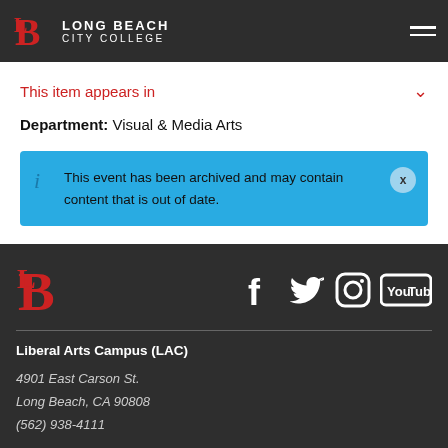Long Beach City College
This item appears in
Department: Visual & Media Arts
This event has been archived and may contain content that is out of date.
Liberal Arts Campus (LAC)
4901 East Carson St.
Long Beach, CA 90808
(562) 938-4111